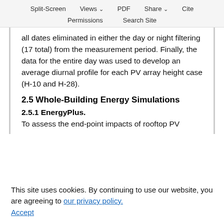Split-Screen  Views  PDF  Share  Cite  Permissions  Search Site
all dates eliminated in either the day or night filtering (17 total) from the measurement period. Finally, the data for the entire day was used to develop an average diurnal profile for each PV array height case (H-10 and H-28).
2.5 Whole-Building Energy Simulations
2.5.1 EnergyPlus.
To assess the end-point impacts of rooftop PV
This site uses cookies. By continuing to use our website, you are agreeing to our privacy policy. Accept
nergy models of archetypical residential (a